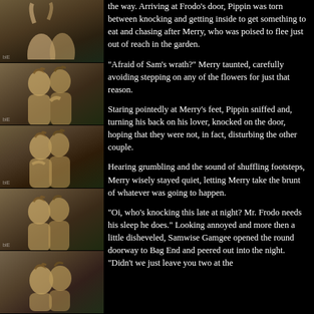[Figure (photo): Column of 5 sepia-toned photos of two young men (hobbits) embracing and leaning together, outdoors with green foliage background]
the way. Arriving at Frodo's door, Pippin was torn between knocking and getting inside to get something to eat and chasing after Merry, who was poised to flee just out of reach in the garden.
"Afraid of Sam's wrath?" Merry taunted, carefully avoiding stepping on any of the flowers for just that reason.
Staring pointedly at Merry's feet, Pippin sniffed and, turning his back on his lover, knocked on the door, hoping that they were not, in fact, disturbing the other couple.
Hearing grumbling and the sound of shuffling footsteps, Merry wisely stayed quiet, letting Merry take the brunt of whatever was going to happen.
"Oi, who's knocking this late at night? Mr. Frodo needs his sleep he does." Looking annoyed and more then a little disheveled, Samwise Gamgee opened the round doorway to Bag End and peered out into the night. "Didn't we just leave you two at the